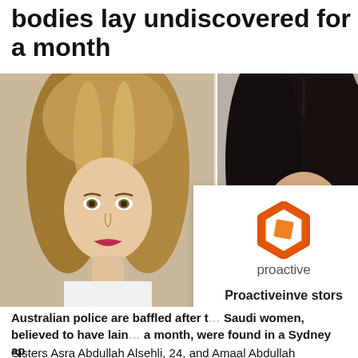bodies lay undiscovered for a month
[Figure (photo): Two women's mugshot-style photos side by side: left shows a young woman with long light brown/blonde hair, right shows a woman with long dark black hair. A Proactive Investors advertisement overlay appears on the right side.]
Australian police are baffled after two Saudi women, believed to have lain dead a month, were found in a Sydney ap
Sisters Asra Abdullah Alsehli, 24, and Amaal Abdullah